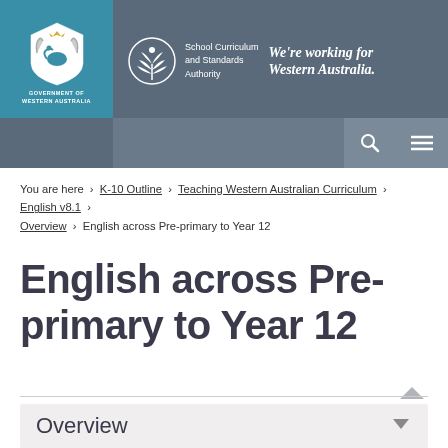[Figure (logo): Government of Western Australia coat of arms logo in blue box, with School Curriculum and Standards Authority tree logo and text, plus 'We're working for Western Australia.' slogan]
You are here › K-10 Outline › Teaching Western Australian Curriculum › English v8.1 › Overview › English across Pre-primary to Year 12
English across Pre-primary to Year 12
Overview